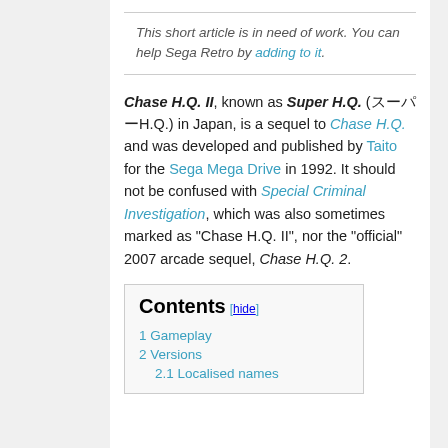This short article is in need of work. You can help Sega Retro by adding to it.
Chase H.Q. II, known as Super H.Q. (スーパーH.Q.) in Japan, is a sequel to Chase H.Q. and was developed and published by Taito for the Sega Mega Drive in 1992. It should not be confused with Special Criminal Investigation, which was also sometimes marked as "Chase H.Q. II", nor the "official" 2007 arcade sequel, Chase H.Q. 2.
Contents [hide]
1 Gameplay
2 Versions
2.1 Localised names